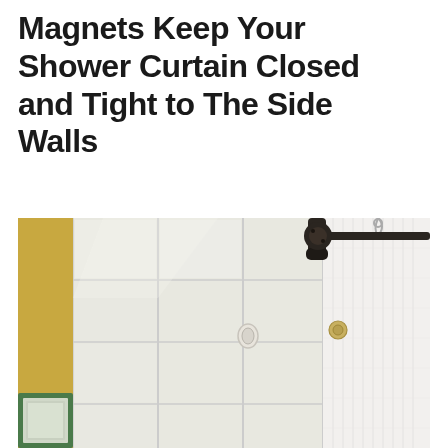Magnets Keep Your Shower Curtain Closed and Tight to The Side Walls
[Figure (photo): A bathroom shower corner showing white ceramic tiles on the wall, a black metal shower rod bracket at the top, a white textured shower curtain being held against the tile wall by a magnet, and a green-framed mirror visible in the lower left corner. The background shows a gold/yellow textured wall.]